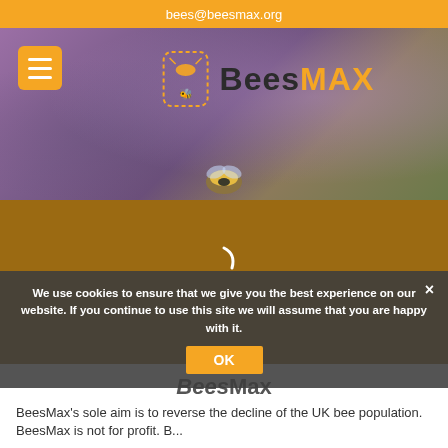bees@beesmax.org
[Figure (photo): Hero banner with lavender flowers background, BeesMAX logo (bee icon + 'Bees' in dark, 'MAX' in orange), hamburger menu button (orange), and a bee at the bottom of the image]
[Figure (photo): Amber/brown loading section with a white curved loading spinner and a dot indicator at the bottom]
We use cookies to ensure that we give you the best experience on our website. If you continue to use this site we will assume that you are happy with it.
BeesMax
BeesMax's sole aim is to reverse the decline of the UK bee population. BeesMax is not for profit. B...